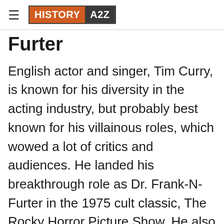HISTORY A2Z
Furter
English actor and singer, Tim Curry, is known for his diversity in the acting industry, but probably best known for his villainous roles, which wowed a lot of critics and audiences. He landed his breakthrough role as Dr. Frank-N-Furter in the 1975 cult classic, The Rocky Horror Picture Show. He also delivered exemplary performances as Darkness in the classic fantasy, Legend, and as Pennywise the Clown in Stephen King's